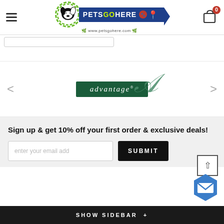Pets Go Here — www.petsgohere.com
[Figure (logo): Advantage flea treatment brand logo — green rectangle with white serif italic text 'advantage' and a large decorative script 'A' overlapping]
Sign up & get 10% off your first order & exclusive deals!
SHOW SIDEBAR +